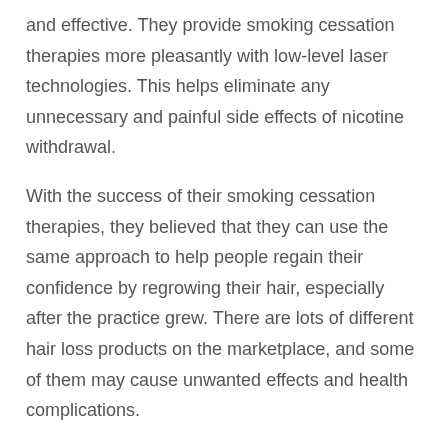and effective. They provide smoking cessation therapies more pleasantly with low-level laser technologies. This helps eliminate any unnecessary and painful side effects of nicotine withdrawal.
With the success of their smoking cessation therapies, they believed that they can use the same approach to help people regain their confidence by regrowing their hair, especially after the practice grew. There are lots of different hair loss products on the marketplace, and some of them may cause unwanted effects and health complications.
iRestore seeks to inspire individuals as well as provide services and products that enhance appearance and health. Investing in health products should not be something that costs thousands of dollars.
They also offer vitamins, hair loss serums, shampoos, conditioners, and other supplementary products in addition to laser